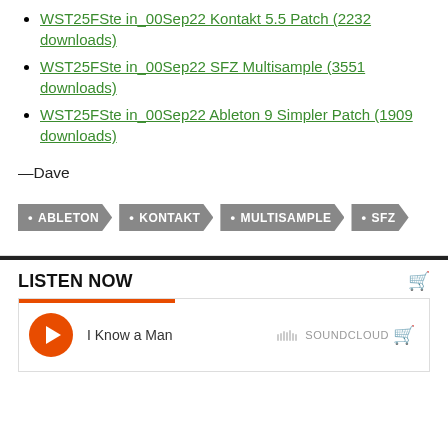WST25FSte in_00Sep22 Kontakt 5.5 Patch (2232 downloads)
WST25FSte in_00Sep22 SFZ Multisample (3551 downloads)
WST25FSte in_00Sep22 Ableton 9 Simpler Patch (1909 downloads)
—Dave
ABLETON • KONTAKT • MULTISAMPLE • SFZ
LISTEN NOW
[Figure (screenshot): SoundCloud embedded player showing 'I Know a Man' with orange play button, progress bar, SoundCloud logo, and cart icon.]